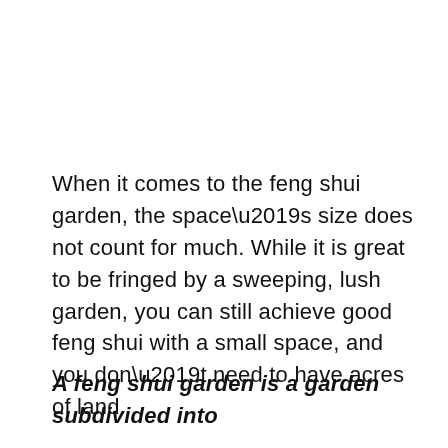When it comes to the feng shui garden, the space’s size does not count for much. While it is great to be fringed by a sweeping, lush garden, you can still achieve good feng shui with a small space, and you don’t need to have acres of land.
A feng shui garden is a garden subdivided into